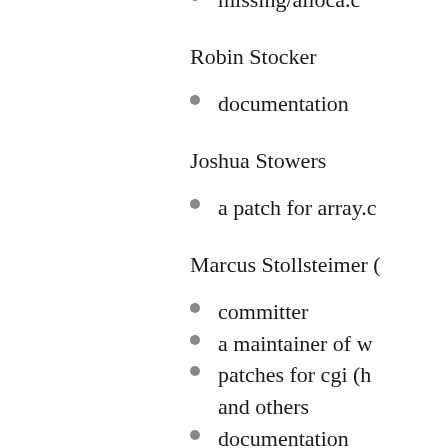missing/alloca.c
Robin Stocker
documentation
Joshua Stowers
a patch for array.c
Marcus Stollsteimer (
committer
a maintainer of w
patches for cgi (h and others
documentation
Adam Strzelecki